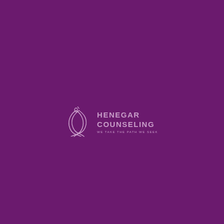[Figure (logo): Henegar Counseling logo: an abstract leaf/flame icon in light purple outline on dark purple background, followed by the text 'HENEGAR COUNSELING' in bold uppercase and tagline 'WE TAKE THE PATH WE SEEK' in small caps, all in light purple on dark purple background.]